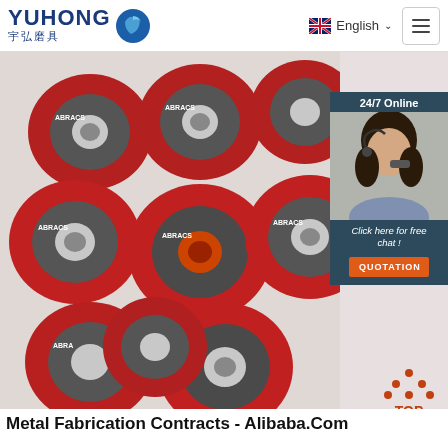YUHONG 宇弘磨具 | English | Menu
[Figure (photo): Multiple red ABRACS branded metal cutting/grinding discs arranged in a pile, viewed from above. A chat widget overlay appears on the right showing '24/7 Online', a female customer service agent with headset, 'Click here for free chat!' text, and an orange QUOTATION button. A red TOP arrow icon appears at bottom right.]
Metal Fabrication Contracts - Alibaba.Com